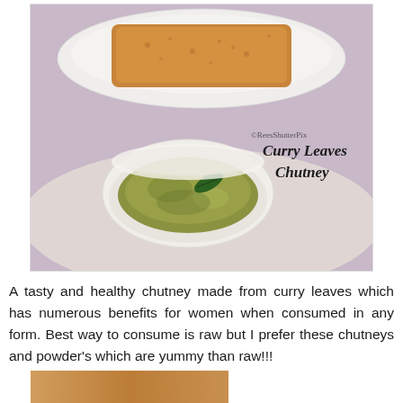[Figure (photo): Food photo showing curry leaves chutney in a white bowl on a purple/lavender background, with a piece of food on a white plate in the upper portion. Text overlay reads 'Curry Leaves Chutney' with '@ReesShutterPix' watermark.]
A tasty and healthy chutney made from curry leaves which has numerous benefits for women when consumed in any form. Best way to consume is raw but I prefer these chutneys and powder's which are yummy than raw!!!
[Figure (photo): Partial view of another food photo at the bottom of the page.]